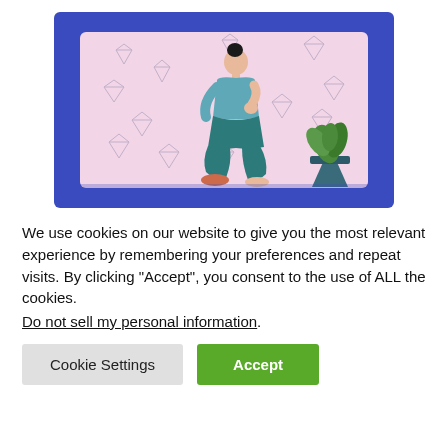[Figure (illustration): A woman doing a squat exercise in front of a pink background with diamond/gem shapes scattered around. She wears a teal top and dark teal pants. Her hair is in a bun. A green potted plant sits to her right. The entire scene is framed with a blue border.]
We use cookies on our website to give you the most relevant experience by remembering your preferences and repeat visits. By clicking "Accept", you consent to the use of ALL the cookies.
Do not sell my personal information.
Cookie Settings   Accept